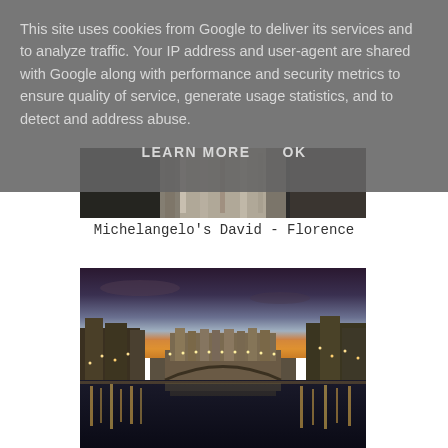This site uses cookies from Google to deliver its services and to analyze traffic. Your IP address and user-agent are shared with Google along with performance and security metrics to ensure quality of service, generate usage statistics, and to detect and address abuse.
LEARN MORE    OK
[Figure (photo): Partial view of Michelangelo's David statue in Florence, showing the torso area against a dark background.]
Michelangelo's David - Florence
[Figure (photo): Night/dusk photo of the Ponte Vecchio bridge in Florence, Italy, reflected in the Arno River with city lights illuminating the scene and a colorful sunset sky.]